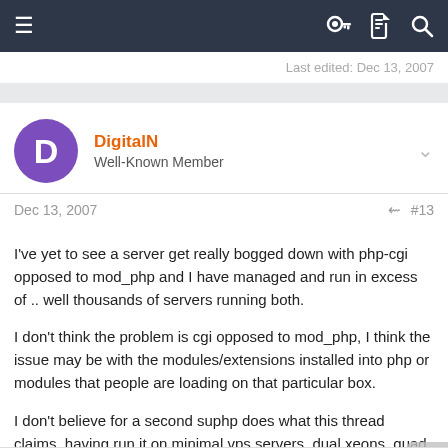Navigation bar with menu, key, document, and search icons
Last edited: Dec 13, 2007
DigitalN
Well-Known Member
Dec 13, 2007  #13
I've yet to see a server get really bogged down with php-cgi opposed to mod_php and I have managed and run in excess of .. well thousands of servers running both.

I don't think the problem is cgi opposed to mod_php, I think the issue may be with the modules/extensions installed into php or modules that people are loading on that particular box.

I don't believe for a second suphp does what this thread claims, having run it on minimal vps servers, dual xeons, quad xeons etc..